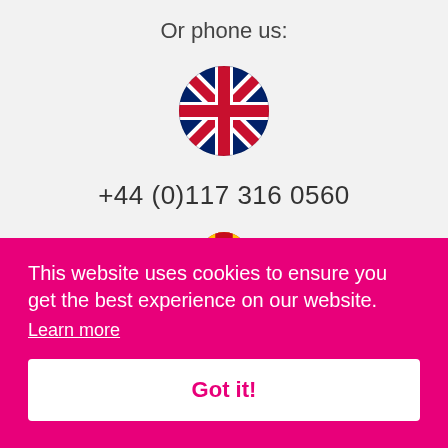Or phone us:
[Figure (illustration): UK flag (Union Jack) circular icon]
+44 (0)117 316 0560
[Figure (illustration): Partial circular flag icon (red/yellow, likely Spain or similar), partially visible at bottom of top section]
This website uses cookies to ensure you get the best experience on our website.
Learn more
Got it!
+33 (0)4 89 73 23 83